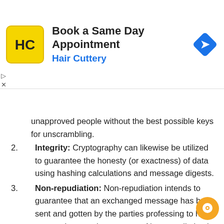[Figure (screenshot): Advertisement banner for Hair Cuttery 'Book a Same Day Appointment' with yellow HC logo and blue navigation arrow icon]
unapproved people without the best possible keys for unscrambling.
2. Integrity: Cryptography can likewise be utilized to guarantee the honesty (or exactness) of data using hashing calculations and message digests.
3. Non-repudiation: Non-repudiation intends to guarantee that an exchanged message has been sent and gotten by the parties professing to have sent and gotten the message. Non-repudiation is an approach to ensure that the sender of a message can't later deny having sent the message and that the beneficiary can't deny having gotten the message.
4. Availability: 'Availability' is the security with the